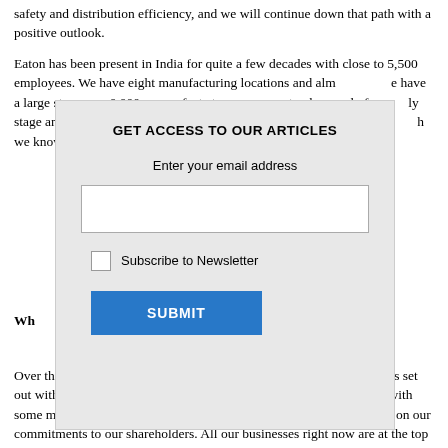safety and distribution efficiency, and we will continue down that path with a positive outlook.
Eaton has been present in India for quite a few decades with close to 5,500 employees. We have eight manufacturing locations and almost [obscured by modal] have a large state [obscured] 0,000 square feet at [obscured] strong track record of [obscured] ly stage and have a h[obscured] continuously flo[obscured] rategy, both to lev[obscured] h we know is gro[obscured] mited op[obscured]
[Figure (other): Modal dialog box - GET ACCESS TO OUR ARTICLES with email input, Subscribe to Newsletter checkbox, and SUBMIT button]
Wh[obscured] e next one to tw[obscured] plans?
Over the next one to two years, Eaton will focus on achieving the goals set out with our investors and as we go into this year, we will be dealing with some market conditions globally. Our goal is to ensure that we deliver on our commitments to our shareholders. All our businesses right now are at the top end of expectations and